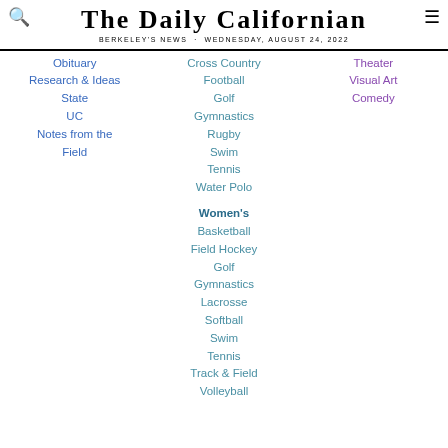THE DAILY CALIFORNIAN
BERKELEY'S NEWS · WEDNESDAY, AUGUST 24, 2022
Obituary
Research & Ideas
State
UC
Notes from the Field
Cross Country
Football
Golf
Gymnastics
Rugby
Swim
Tennis
Water Polo
Women's
Basketball
Field Hockey
Golf
Gymnastics
Lacrosse
Softball
Swim
Tennis
Track & Field
Volleyball
Theater
Visual Art
Comedy